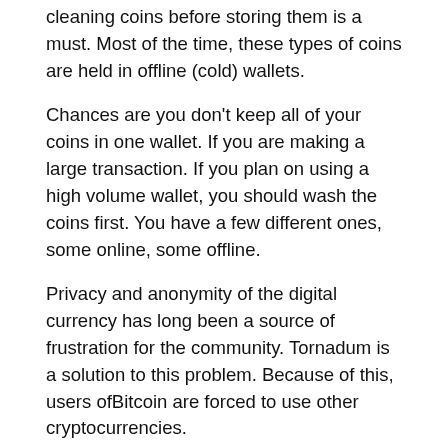cleaning coins before storing them is a must. Most of the time, these types of coins are held in offline (cold) wallets.
Chances are you don't keep all of your coins in one wallet. If you are making a large transaction. If you plan on using a high volume wallet, you should wash the coins first. You have a few different ones, some online, some offline.
Privacy and anonymity of the digital currency has long been a source of frustration for the community. Tornadum is a solution to this problem. Because of this, users ofBitcoin are forced to use other cryptocurrencies.
Everyone can see which wallet the BTC was sent to and which wallet it was sent to. The owner of the wallet will remain a mystery until you decide to convert your money to dollars. Contrary to popular belief, Bitcoins are not anonymous.